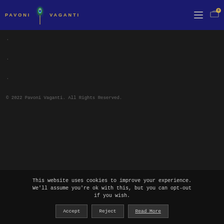[Figure (logo): Pavoni Vaganti logo with peacock feather icon and golden text]
·
·
·
© 2022 Pavoni Vaganti. All Rights Reserved.
This website uses cookies to improve your experience. We'll assume you're ok with this, but you can opt-out if you wish.
Accept   Reject   Read More